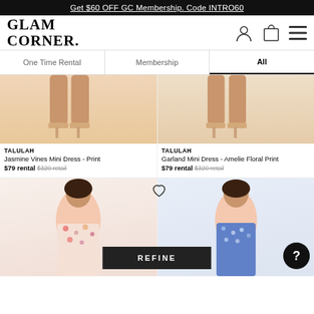Get $60 OFF GC Membership. Code INTRO60
GLAM CORNER.
One Time Rental | Membership | All
TALULAH
Jasmine Vines Mini Dress - Print
$79 rental $320 retail
TALULAH
Garland Mini Dress - Amelie Floral Print
$79 rental $320 retail
[Figure (photo): Two product listing photos showing lower half of models wearing floral mini dresses with heeled sandals]
[Figure (photo): Two product listing photos showing upper half of models wearing floral mini dresses]
REFINE